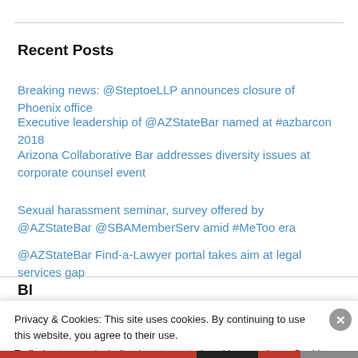Recent Posts
Breaking news: @SteptoeLLP announces closure of Phoenix office
Executive leadership of @AZStateBar named at #azbarcon 2018
Arizona Collaborative Bar addresses diversity issues at corporate counsel event
Sexual harassment seminar, survey offered by @AZStateBar @SBAMemberServ amid #MeToo era
@AZStateBar Find-a-Lawyer portal takes aim at legal services gap
Privacy & Cookies: This site uses cookies. By continuing to use this website, you agree to their use.
To find out more, including how to control cookies, see here: Cookie Policy
Close and accept